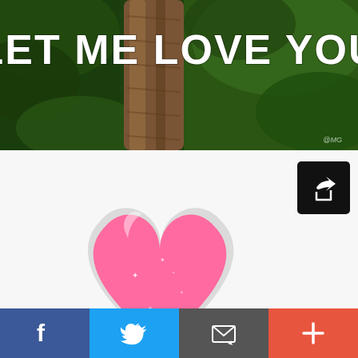[Figure (photo): Meme image with white bold text 'LET ME LOVE YOU' over a forest/palm tree background with dark green foliage and a tree trunk]
[Figure (illustration): Animated GIF-style illustration of three pink glitter hearts with text 'With You' in pink cursive, dam7.com watermark, silver glitter border, on white/light grey background. A black share button with white arrow icon is in the top right.]
[Figure (screenshot): Advertisement banner: 'Buy a photo booth Now' headline, subtext 'Buy now, pay later as we accept photo booth financing.', source 'Boothify - Manufacturer', blue 'Visit Site' CTA button. Ad icons (play/close) in top right of ad.]
[Figure (screenshot): Social sharing bar at page bottom with four buttons: Facebook (dark blue, 'f'), Twitter (light blue, bird icon), Email/share (dark grey, envelope icon), and More/Plus (coral red, '+' icon)]